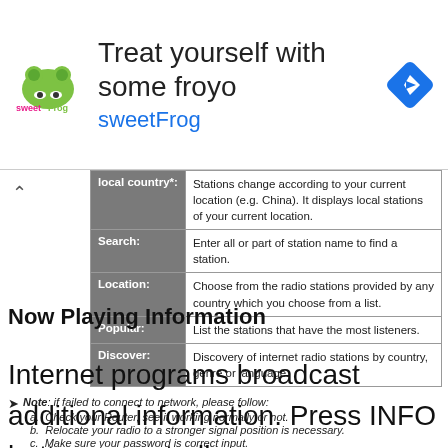[Figure (advertisement): sweetFrog frozen yogurt advertisement with logo, text 'Treat yourself with some froyo sweetFrog', and a blue diamond navigation icon]
| Category | Description |
| --- | --- |
| local country*: | Stations change according to your current location (e.g. China). It displays local stations of your current location. |
| Search: | Enter all or part of station name to find a station. |
| Location: | Choose from the radio stations provided by any country which you choose from a list. |
| Popular: | List the stations that have the most listeners. |
| Discover: | Discovery of internet radio stations by country, genre or language. |
Note: if failed to connect to network, please follow: a. Check your Router, see it working normally or not. b. Relocate your radio to a stronger signal position is necessary. c. Make sure your password is correct input.
Now Playing Information
Internet programs broadcast additional information. Press INFO button repeatedly